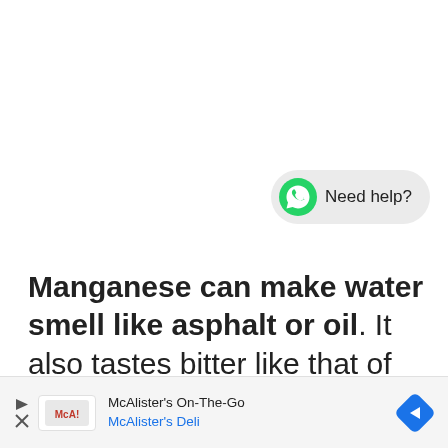[Figure (other): WhatsApp-style chat button with green phone icon and 'Need help?' text on a light grey pill-shaped background]
Manganese can make water smell like asphalt or oil. It also tastes bitter like that of petroleum and asphalt.
[Figure (other): Advertisement bar: McAlister's On-The-Go with McAlister's Deli logo and navigation arrow icon]